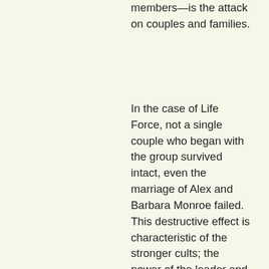members—is the attack on couples and families.
In the case of Life Force, not a single couple who began with the group survived intact, even the marriage of Alex and Barbara Monroe failed. This destructive effect is characteristic of the stronger cults; the power of the leader and the sense of security of the group are diminished by any strong social bonds which set up conflicting loyalties. (Hugh and Clara's enduring bonds to their child and to each other eventually provided the motivation to break from the group.)